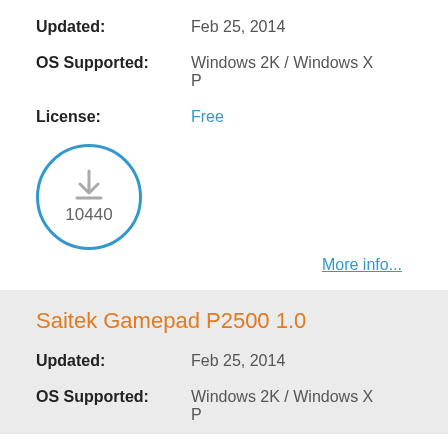Updated: Feb 25, 2014
OS Supported: Windows 2K / Windows XP
License: Free
[Figure (other): Download icon inside a blue circle with download count 10440]
More info...
Saitek Gamepad P2500 1.0
Updated: Feb 25, 2014
OS Supported: Windows 2K / Windows XP